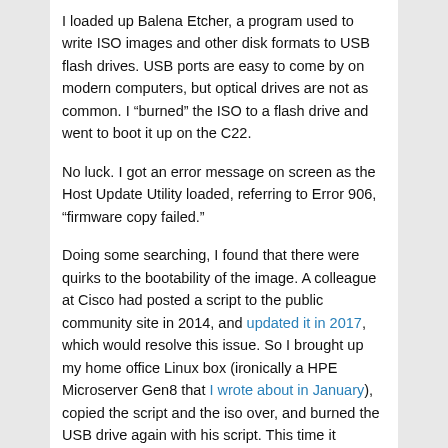I loaded up Balena Etcher, a program used to write ISO images and other disk formats to USB flash drives. USB ports are easy to come by on modern computers, but optical drives are not as common. I “burned” the ISO to a flash drive and went to boot it up on the C22.
No luck. I got an error message on screen as the Host Update Utility loaded, referring to Error 906, “firmware copy failed.”
Doing some searching, I found that there were quirks to the bootability of the image. A colleague at Cisco had posted a script to the public community site in 2014, and updated it in 2017, which would resolve this issue. So I brought up my home office Linux box (ironically a HPE Microserver Gen8 that I wrote about in January), copied the script and the iso over, and burned the USB drive again with his script. This time it worked.
[Figure (screenshot): Screenshot of Cisco Host Upgrade Utility v3.0.4 loading screen on dark background with text visible at bottom]